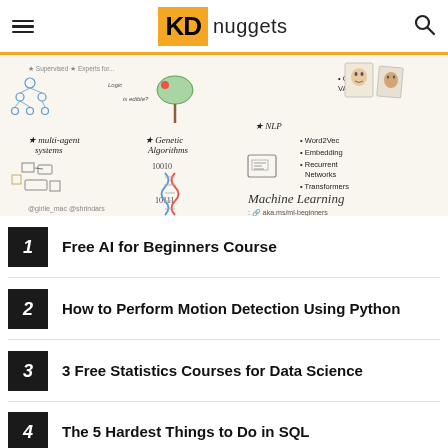KD nuggets
[Figure (illustration): Hand-drawn machine learning sketchnote illustration showing multi-agent systems, genetic algorithms, NLP, GAN/VAE, Word2Vec, Embedding, Recurrent Networks, Transformers. Text: Machine Learning aka.ms/ml-beginners. @girlie_mac @shrindars]
1 Free AI for Beginners Course
2 How to Perform Motion Detection Using Python
3 3 Free Statistics Courses for Data Science
4 The 5 Hardest Things to Do in SQL